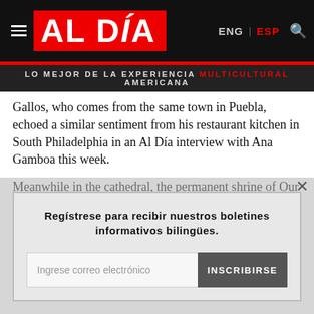AL DÍA — ENG | ESP
LO MEJOR DE LA EXPERIENCIA MULTICULTURAL AMERICANA
Gallos, who comes from the same town in Puebla, echoed a similar sentiment from his restaurant kitchen in South Philadelphia in an Al Día interview with Ana Gamboa this week.
Meanwhile in the cathedral, the permanent shrine of Our Lady of Guadalupe — installed a few years ago at the behest of the parishioners of South Philadelphia's St. Thomas Aquinas and Annunciation parishes and acknowledging the rapidly growing
Regístrese para recibir nuestros boletines informativos bilingües.
Ingrese correo electrónico
INSCRIBIRSE